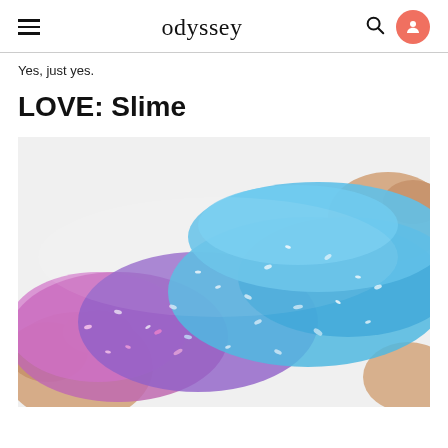odyssey
Yes, just yes.
LOVE: Slime
[Figure (photo): Hands stretching glittery slime with blue and purple/pink metallic shimmer on a white background.]